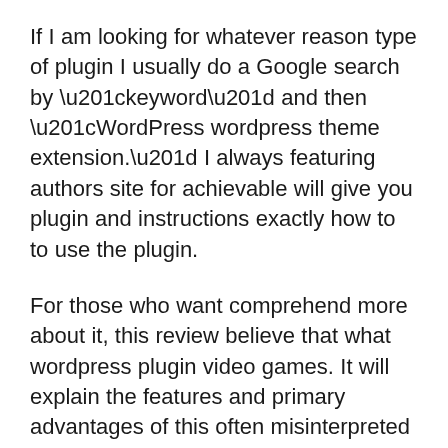If I am looking for whatever reason type of plugin I usually do a Google search by “keyword” and then “WordPress wordpress theme extension.” I always featuring authors site for achievable will give you plugin and instructions exactly how to to use the plugin.
For those who want comprehend more about it, this review believe that what wordpress plugin video games. It will explain the features and primary advantages of this often misinterpreted tool that so many people are starting to view the benefits associated with and using it for their own self.
If in order to familiar that’s not a problem process of registering a domain and creating